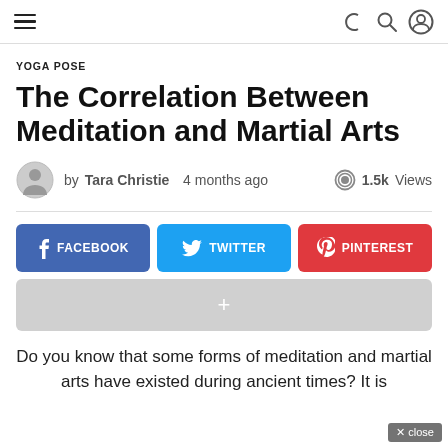Navigation header with hamburger menu and icons for dark mode, search, and user account
YOGA POSE
The Correlation Between Meditation and Martial Arts
by Tara Christie  4 months ago  1.5k Views
[Figure (infographic): Social share buttons: Facebook (blue), Twitter (light blue), Pinterest (red), and a grey plus/more button]
Do you know that some forms of meditation and martial arts have existed during ancient times? It is